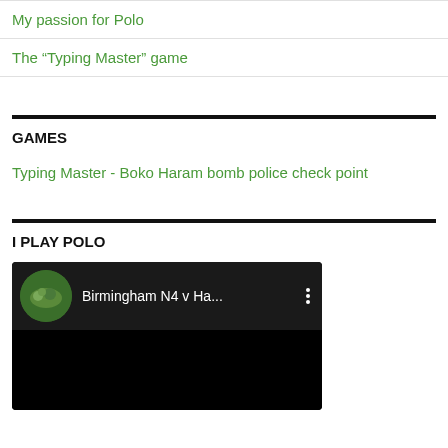My passion for Polo
The “Typing Master” game
GAMES
Typing Master - Boko Haram bomb police check point
I PLAY POLO
[Figure (screenshot): YouTube video thumbnail showing polo match with title 'Birmingham N4 v Ha...' with circular polo image thumbnail on left and three-dot menu icon on right, black video area below]